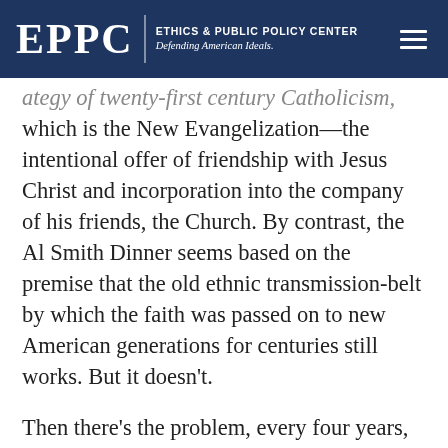EPPC | ETHICS & PUBLIC POLICY CENTER Defending American Ideals.
ategy of twenty-first century Catholicism, which is the New Evangelization—the intentional offer of friendship with Jesus Christ and incorporation into the company of his friends, the Church. By contrast, the Al Smith Dinner seems based on the premise that the old ethnic transmission-belt by which the faith was passed on to new American generations for centuries still works. But it doesn't.
Then there's the problem, every four years, of how to square the dinner's proud, tribal Catholicism with the fact that one (or in 2016, both) of the principal guests advocate public